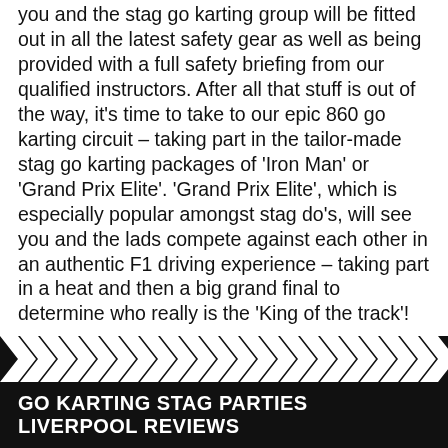you and the stag go karting group will be fitted out in all the latest safety gear as well as being provided with a full safety briefing from our qualified instructors. After all that stuff is out of the way, it's time to take to our epic 860 go karting circuit – taking part in the tailor-made stag go karting packages of 'Iron Man' or 'Grand Prix Elite'. 'Grand Prix Elite', which is especially popular amongst stag do's, will see you and the lads compete against each other in an authentic F1 driving experience – taking part in a heat and then a big grand final to determine who really is the 'King of the track'!
GO KARTING STAG PARTIES LIVERPOOL REVIEWS
"Great time had by all. Great experience and best karting we have been to."
KEVIN PEARCE,
"Faboo!"